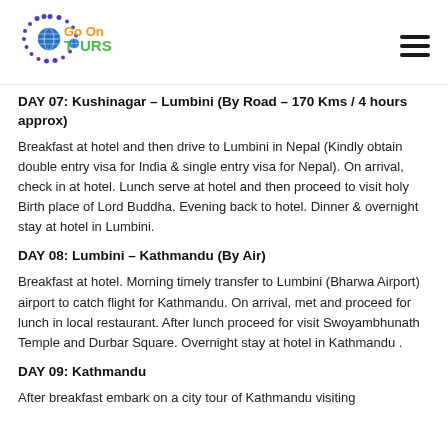[Figure (logo): Go On Tours logo with colorful dotted circle border and globe icon]
DAY 07: Kushinagar – Lumbini (By Road – 170 Kms / 4 hours approx)
Breakfast at hotel and then drive to Lumbini in Nepal (Kindly obtain double entry visa for India & single entry visa for Nepal). On arrival, check in at hotel. Lunch serve at hotel and then proceed to visit holy Birth place of Lord Buddha. Evening back to hotel. Dinner & overnight stay at hotel in Lumbini.
DAY 08: Lumbini – Kathmandu (By Air)
Breakfast at hotel. Morning timely transfer to Lumbini (Bharwa Airport) airport to catch flight for Kathmandu. On arrival, met and proceed for lunch in local restaurant. After lunch proceed for visit Swoyambhunath Temple and Durbar Square. Overnight stay at hotel in Kathmandu .
DAY 09: Kathmandu
After breakfast embark on a city tour of Kathmandu visiting